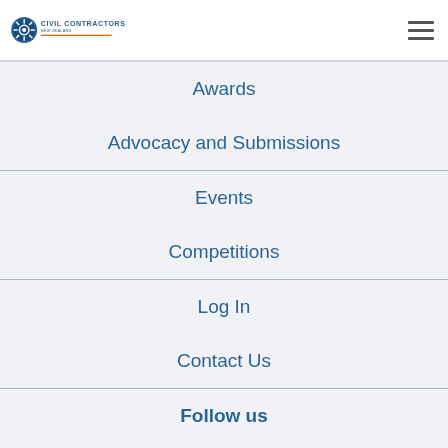Civil Contractors New Zealand
Awards
Advocacy and Submissions
Events
Competitions
Log In
Contact Us
Follow us